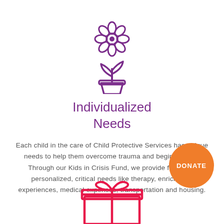[Figure (illustration): Purple outline icon of a flower in a pot with two leaves]
Individualized Needs
Each child in the care of Child Protective Services has unique needs to help them overcome trauma and begin healing. Through our Kids in Crisis Fund, we provide for highly personalized, critical needs like therapy, enrichment experiences, medical expenses, transportation and housing.
[Figure (illustration): Orange circular donate button with text DONATE]
[Figure (illustration): Red/pink outline icon of a gift box with a bow on top]